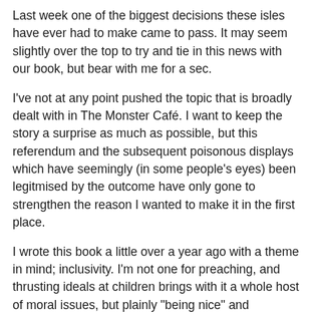Last week one of the biggest decisions these isles have ever had to make came to pass. It may seem slightly over the top to try and tie in this news with our book, but bear with me for a sec.
I've not at any point pushed the topic that is broadly dealt with in The Monster Café. I want to keep the story a surprise as much as possible, but this referendum and the subsequent poisonous displays which have seemingly (in some people's eyes) been legitmised by the outcome have only gone to strengthen the reason I wanted to make it in the first place.
I wrote this book a little over a year ago with a theme in mind; inclusivity. I'm not one for preaching, and thrusting ideals at children brings with it a whole host of moral issues, but plainly "being nice" and accepting those who are not the same as you (and who are more different than monsters?) is an important message to ingrain from a young age, I think.